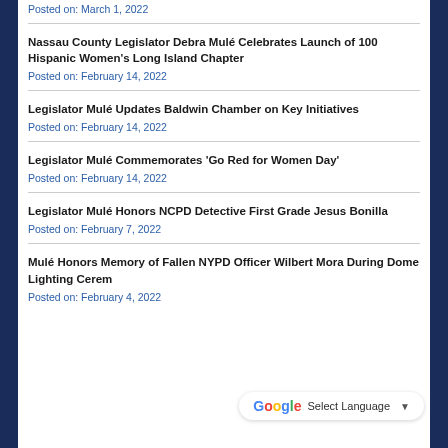Posted on: March 1, 2022
Nassau County Legislator Debra Mulé Celebrates Launch of 100 Hispanic Women's Long Island Chapter
Posted on: February 14, 2022
Legislator Mulé Updates Baldwin Chamber on Key Initiatives
Posted on: February 14, 2022
Legislator Mulé Commemorates 'Go Red for Women Day'
Posted on: February 14, 2022
Legislator Mulé Honors NCPD Detective First Grade Jesus Bonilla
Posted on: February 7, 2022
Mulé Honors Memory of Fallen NYPD Officer Wilbert Mora During Dome Lighting Cerem…
Posted on: February 4, 2022